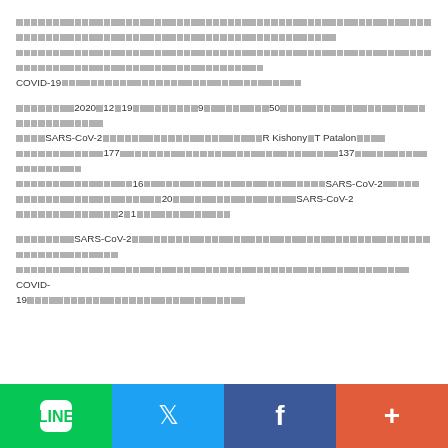Japanese text block with COVID-19 content (rendered as placeholder squares in original)
Japanese text block referencing 2020年12月19日, 9, 50, SARS-CoV-2, R Kishony, T Patalon, 177, 137, 16, SARS-CoV-2, 20, SARS-CoV-2, 2対1
Japanese text block referencing SARS-CoV-2 and COVID-19
[Figure (infographic): Social sharing bar with LINE (green), Twitter (blue), Facebook (dark blue), and More/Plus (orange-red) buttons]